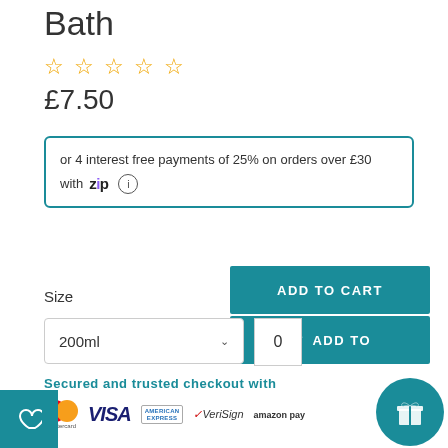Bath
★★★★☆
£7.50
or 4 interest free payments of 25% on orders over £30 with zip ⓘ
ADD TO CART
♡ ADD TO
Size
200ml
0
Secured and trusted checkout with
[Figure (logo): Payment method logos: Mastercard, VISA, American Express, VeriSign, Amazon Pay, PayPal]